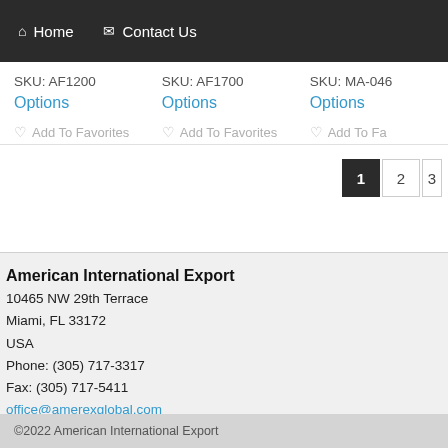Home   Contact Us
SKU: AF1200
SKU: AF1700
SKU: MA-046
Options
Options
Options
Add To Favorites
Add To Favorites
Add To Fa
1  2  3
American International Export
10465 NW 29th Terrace
Miami, FL 33172
USA
Phone: (305) 717-3317
Fax: (305) 717-5411
office@amerexglobal.com
©2022 American International Export